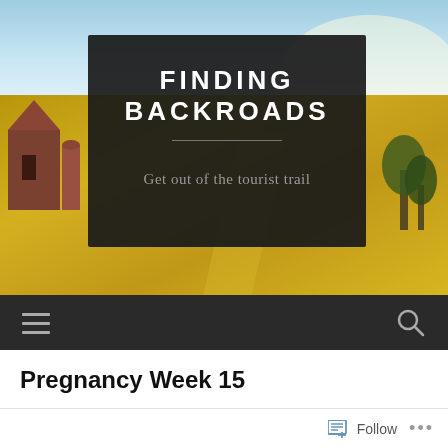[Figure (photo): Website header banner showing a rural landscape with golden fields, a barn on the left, trees on the right, and a blue sky. A dark semi-transparent overlay box in the center contains the blog title and subtitle.]
FINDING BACKROADS
Get out of the tourist trail
[Figure (other): Dark navigation bar with hamburger menu icon on the left and search icon on the right]
Pregnancy Week 15
Follow
...